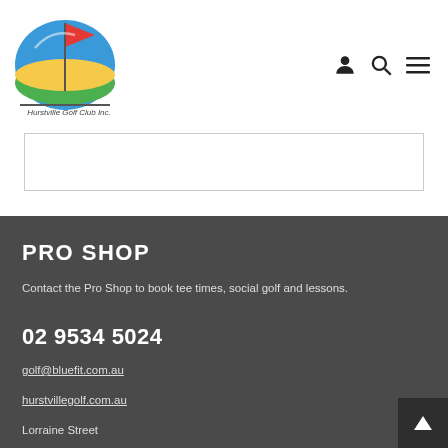[Figure (logo): Hurstville Golf Club Inc. logo with colourful golf flag and text]
[Figure (infographic): Navigation icons: user/account, search, and hamburger menu]
PRO SHOP
Contact the Pro Shop to book tee times, social golf and lessons.
02 9534 5024
golf@bluefit.com.au
hurstvillegolf.com.au
Lorraine Street